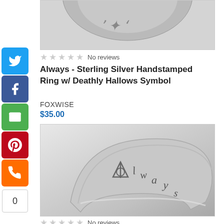[Figure (photo): Top portion of a sterling silver ring with engraving visible, cropped at top of page]
No reviews
Always - Sterling Silver Handstamped Ring w/ Deathly Hallows Symbol
FOXWISE
$35.00
[Figure (photo): Sterling silver handstamped ring showing the word 'Always' in script with Deathly Hallows symbol stamped on the band]
No reviews